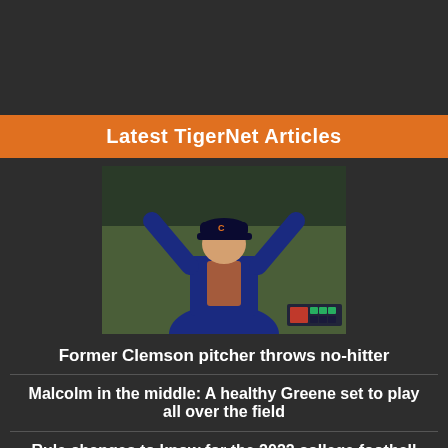Latest TigerNet Articles
[Figure (photo): Baseball player in blue and orange uniform celebrating with arms raised, wearing a cap]
Former Clemson pitcher throws no-hitter
Malcolm in the middle: A healthy Greene set to play all over the field
Rule changes to know for the 2022 college football season
LOOK: Signing in place for Clemson Memorial...